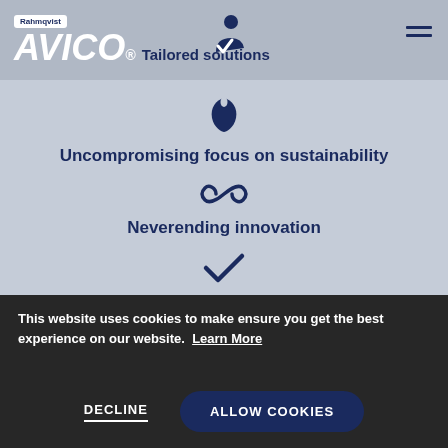Rahmqvist AVICO® Tailored solutions
[Figure (illustration): Person with checkmark icon in header]
[Figure (illustration): Leaf/sustainability icon]
Uncompromising focus on sustainability
[Figure (illustration): Infinity symbol icon]
Neverending innovation
[Figure (illustration): Checkmark icon]
Education & support included
This website uses cookies to make ensure you get the best experience on our website. Learn More
DECLINE
ALLOW COOKIES